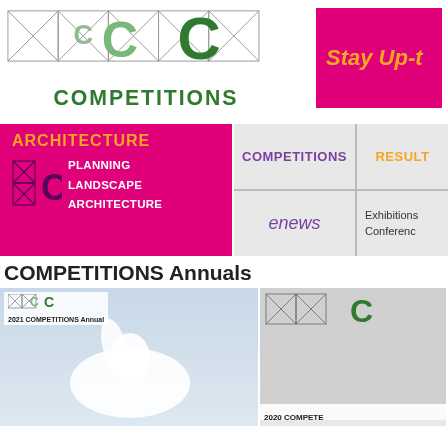[Figure (logo): XCC COMPETITIONS logo with geometric X pattern and C letters in green, with 'COMPETITIONS' text below in green]
[Figure (infographic): Pink/magenta banner with orange italic text 'Stay Up-t' (truncated)]
[Figure (infographic): Pink navigation panel with 'ARCHITECTURE' in orange, C logo, and white text: PLANNING, LANDSCAPE, ARCHITECTURE]
[Figure (infographic): Navigation grid with COMPETITIONS (purple), RESULTS (orange), enews (purple italic), Exhibitions Conferences text]
COMPETITIONS Annuals
[Figure (photo): 2021 COMPETITIONS Annual cover with white horse against sky, XCC logo and label at top left]
[Figure (photo): 2020 COMPETITIONS Annual cover (partially visible), with XCC logo]